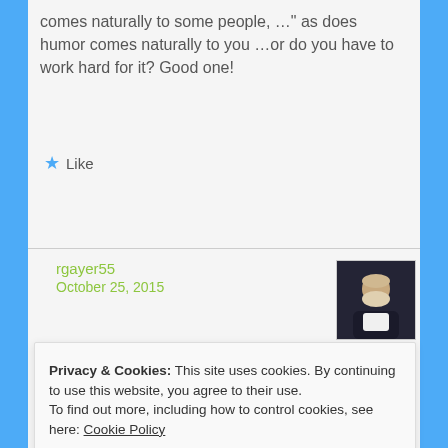comes naturally to some people, …" as does humor comes naturally to you …or do you have to work hard for it? Good one!
Like
Reply
[Figure (photo): Avatar photo of user rgayer55 — elderly bearded man in dark jacket with white shirt]
rgayer55
October 25, 2015
Sinking to this level requires hard
Privacy & Cookies: This site uses cookies. By continuing to use this website, you agree to their use.
To find out more, including how to control cookies, see here: Cookie Policy
Close and accept
October 24, 2015